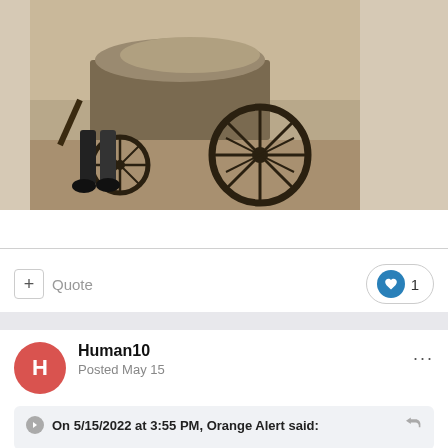[Figure (photo): Sepia-toned historical photograph showing a person pushing a large wheeled cart or barrow, with large spoked wheel visible.]
+ Quote
❤ 1
Human10
Posted May 15
On 5/15/2022 at 3:55 PM, Orange Alert said:
Yes, maybe.  We will have to wait and see either for Bill Gate's the Big One pandemic prophecy or the Ukraine circus show, which they are not doing a thing to calm down, as any normal human being would do. They are all insane.